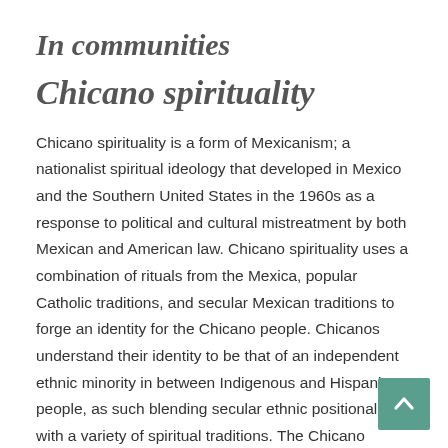In communities
Chicano spirituality
Chicano spirituality is a form of Mexicanism; a nationalist spiritual ideology that developed in Mexico and the Southern United States in the 1960s as a response to political and cultural mistreatment by both Mexican and American law. Chicano spirituality uses a combination of rituals from the Mexica, popular Catholic traditions, and secular Mexican traditions to forge an identity for the Chicano people. Chicanos understand their identity to be that of an independent ethnic minority in between Indigenous and Hispanic people, as such blending secular ethnic positionality with a variety of spiritual traditions. The Chicano identify as heirs to the Aztec lineage and so this can also act to identify their